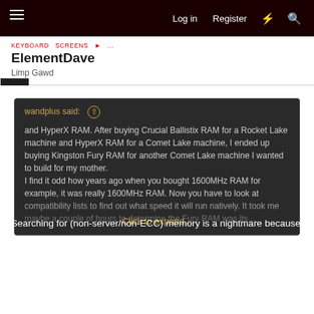Log in  Register  [What's new]  [Search]
ElementDave
Limp Gawd
wandplus said: ↑

and HyperX RAM. After buying Crucial Ballistix RAM for a Rocket Lake machine and HyperX RAM for a Comet Lake machine, I ended up buying Kingston Fury RAM for another Comet Lake machine I wanted to build for my mother.
I find it odd how years ago when you bought 1600MHz RAM for example, it was really 1600MHz RAM. Now you have to look at compatibility lists to find out what speed it will run natively. It took me maybe a couple of hours to determine the Fury RAM was the...
Click to expand...
Searching for (non-server/non-ECC) memory is a nightmare because modules are advertised according to factory-overclocked settings defined in their XMP. It's a headache if you need or want to know the native speed grade and SPD EEPROM parameters for compatibility or other reasons. Product pages rarely if ever provide this information, and the chips are usually hidden behind tasteless RGB-ridden